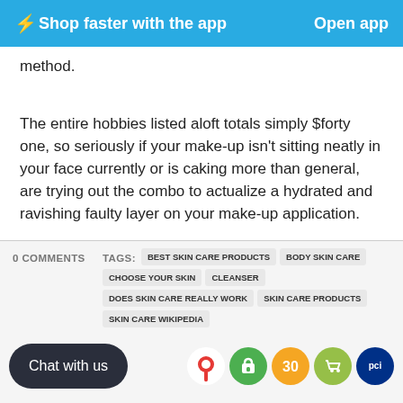⚡Shop faster with the app   Open app
method.
The entire hobbies listed aloft totals simply $forty one, so seriously if your make-up isn't sitting neatly in your face currently or is caking more than general, are trying out the combo to actualize a hydrated and ravishing faulty layer on your make-up application.
0 COMMENTS
TAGS: BEST SKIN CARE PRODUCTS  BODY SKIN CARE  CHOOSE YOUR SKIN  CLEANSER  DOES SKIN CARE REALLY WORK  SKIN CARE PRODUCTS  SKIN CARE WIKIPEDIA  WHAT SHOULD A NIGHT SKINCARE ROUTINE
Chat with us